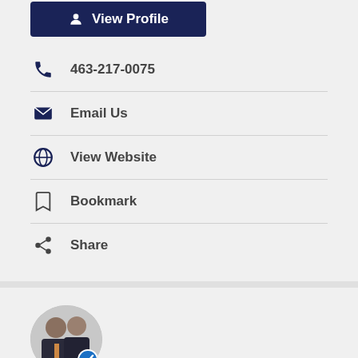View Profile
463-217-0075
Email Us
View Website
Bookmark
Share
[Figure (photo): Two lawyers in suits standing together, with a blue verified badge overlay]
Hoover Rogers Law, LLP
Personal Injury  Truck Accidents